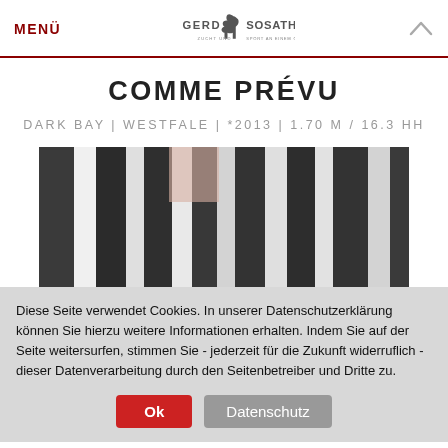MENÜ | GERD SOSATH ZUCHT UND SPORT AN EINEM ORT
COMME PRÉVU
DARK BAY | WESTFALE | *2013 | 1.70 M / 16.3 HH
[Figure (photo): Photo of horse legs/hooves in black and white striped backdrop]
Diese Seite verwendet Cookies. In unserer Datenschutzerklärung können Sie hierzu weitere Informationen erhalten. Indem Sie auf der Seite weitersurfen, stimmen Sie - jederzeit für die Zukunft widerruflich - dieser Datenverarbeitung durch den Seitenbetreiber und Dritte zu.
Ok | Datenschutz